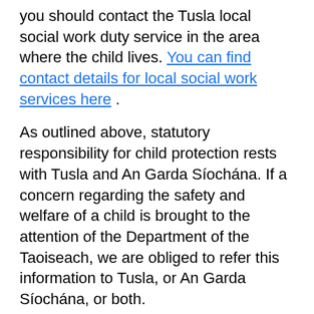you should contact the Tusla local social work duty service in the area where the child lives. You can find contact details for local social work services here .
As outlined above, statutory responsibility for child protection rests with Tusla and An Garda Síochána. If a concern regarding the safety and welfare of a child is brought to the attention of the Department of the Taoiseach, we are obliged to refer this information to Tusla, or An Garda Síochána, or both.
The Department has no role in the assessment or investigation of any child protection concerns. However, the welfare of children is paramount and the Department have a duty to ensure any concerns or allegations are referred to Tusla or An Garda Síochána. We will refer any concerns or allegations in the less that travel with at the last state.